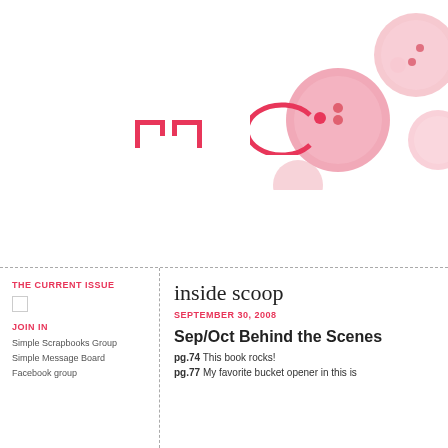[Figure (illustration): Pink buttons decorative photo in top right corner, and partial pink logo/wordmark in center of top area]
THE CURRENT ISSUE
JOIN IN
Simple Scrapbooks Group
Simple Message Board
Facebook group
inside scoop
SEPTEMBER 30, 2008
Sep/Oct Behind the Scenes
pg.74  This book rocks!
pg.77  My favorite bucket opener in this is